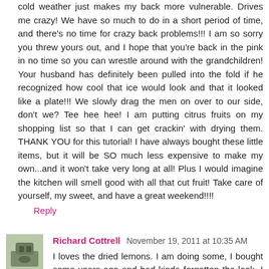cold weather just makes my back more vulnerable. Drives me crazy! We have so much to do in a short period of time, and there's no time for crazy back problems!!! I am so sorry you threw yours out, and I hope that you're back in the pink in no time so you can wrestle around with the grandchildren! Your husband has definitely been pulled into the fold if he recognized how cool that ice would look and that it looked like a plate!!! We slowly drag the men on over to our side, don't we? Tee hee hee! I am putting citrus fruits on my shopping list so that I can get crackin' with drying them. THANK YOU for this tutorial! I have always bought these little items, but it will be SO much less expensive to make my own...and it won't take very long at all! Plus I would imagine the kitchen will smell good with all that cut fruit! Take care of yourself, my sweet, and have a great weekend!!!!
Reply
Richard Cottrell November 19, 2011 at 10:35 AM
I loves the dried lemons. I am doing some, I bought some years ago and had kinda forgotten the look. I am doing...